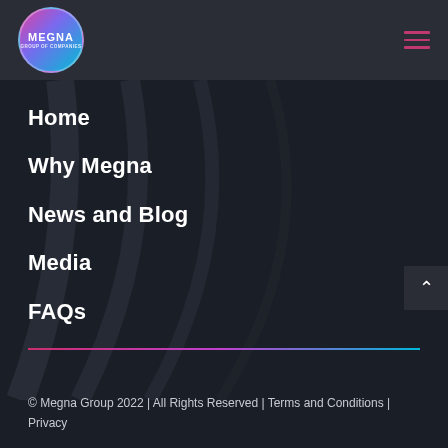MEGNA GROUP OF COMPANIES
Home
Why Megna
News and Blog
Media
FAQs
© Megna Group 2022 | All Rights Reserved | Terms and Conditions | Privacy